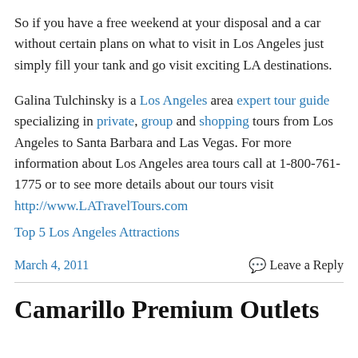So if you have a free weekend at your disposal and a car without certain plans on what to visit in Los Angeles just simply fill your tank and go visit exciting LA destinations.
Galina Tulchinsky is a Los Angeles area expert tour guide specializing in private, group and shopping tours from Los Angeles to Santa Barbara and Las Vegas. For more information about Los Angeles area tours call at 1-800-761-1775 or to see more details about our tours visit http://www.LATravelTours.com
Top 5 Los Angeles Attractions
March 4, 2011
Leave a Reply
Camarillo Premium Outlets